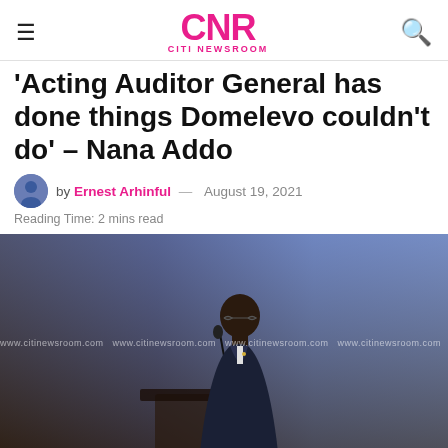CNR CITI NEWSROOM
'Acting Auditor General has done things Domelevo couldn't do' – Nana Addo
by Ernest Arhinful — August 19, 2021
Reading Time: 2 mins read
[Figure (photo): A man in a dark suit speaking at a podium with microphone, in front of a blue-lit background. Watermark: www.citinewsroom.com repeated across the image.]